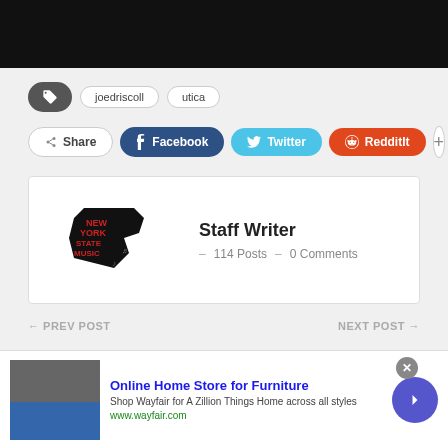[Figure (photo): Black header image area]
joedriscoll
utica
Share  Facebook  Twitter  Reddit  +
Staff Writer  –  114 Posts  –  0 Comments
← PREV POST    NEXT POST →
Online Home Store for Furniture
Shop Wayfair for A Zillion Things Home across all styles
www.wayfair.com